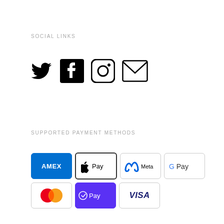SOCIAL LINKS
[Figure (infographic): Social media icons: Twitter (bird), Facebook (F), Instagram (camera), Email (envelope)]
SUPPORTED PAYMENT METHODS
[Figure (infographic): Payment method icons: American Express (blue), Apple Pay, Meta Pay, Google Pay, Mastercard, Shop Pay (purple), Visa]